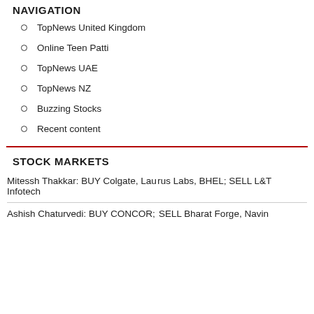NAVIGATION
TopNews United Kingdom
Online Teen Patti
TopNews UAE
TopNews NZ
Buzzing Stocks
Recent content
STOCK MARKETS
Mitessh Thakkar: BUY Colgate, Laurus Labs, BHEL; SELL L&T Infotech
Ashish Chaturvedi: BUY CONCOR; SELL Bharat Forge, Navin